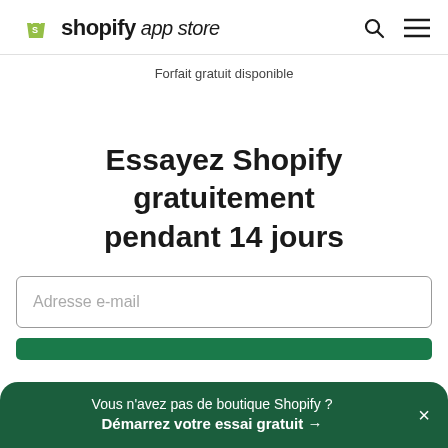shopify app store
Forfait gratuit disponible
Essayez Shopify gratuitement pendant 14 jours
Adresse e-mail
Vous n'avez pas de boutique Shopify ? Démarrez votre essai gratuit →